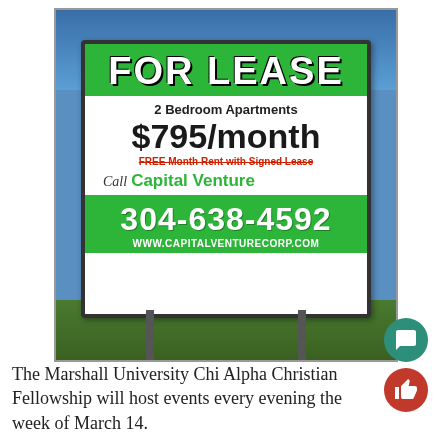[Figure (photo): Outdoor real estate sign reading 'FOR LEASE - 2 Bedroom Apartments $795/month - FREE Month Rent with Signed Lease - Call Capital Venture - 304-638-4592 - www.capitalventurecorp.com'. Sign has green header and footer with white middle section, mounted on poles in grass with blue sky background.]
The Marshall University Chi Alpha Christian Fellowship will host events every evening the week of March 14.